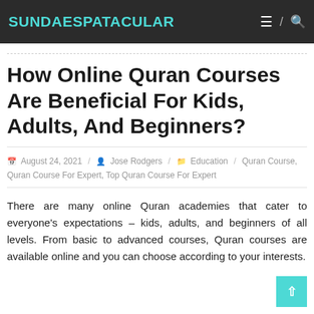SUNDAESPATACULAR
How Online Quran Courses Are Beneficial For Kids, Adults, And Beginners?
August 24, 2021 / Jose Rodgers / Education / Quran Course, Quran Course For Expert, Top Quran Course For Expert
There are many online Quran academies that cater to everyone's expectations – kids, adults, and beginners of all levels. From basic to advanced courses, Quran courses are available online and you can choose according to your interests.